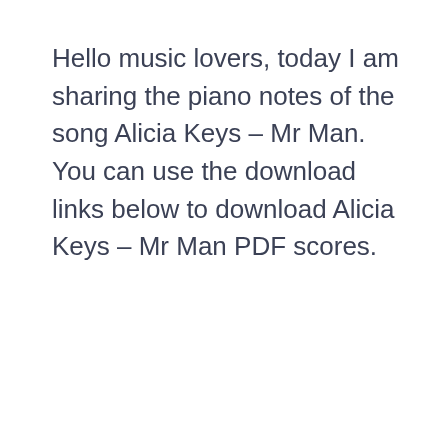Hello music lovers, today I am sharing the piano notes of the song Alicia Keys – Mr Man. You can use the download links below to download Alicia Keys – Mr Man PDF scores.